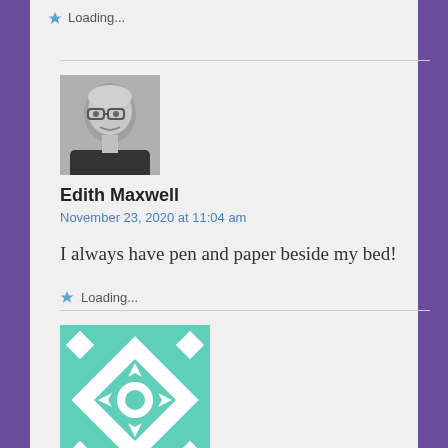Loading...
[Figure (photo): Black and white headshot photo of Edith Maxwell, a middle-aged woman with light hair and glasses, smiling]
Edith Maxwell
November 23, 2020 at 11:04 am
I always have pen and paper beside my bed!
Loading...
[Figure (illustration): Teal/mint colored decorative quilt-pattern icon with geometric and floral motifs on white background]
Donna McKenzie